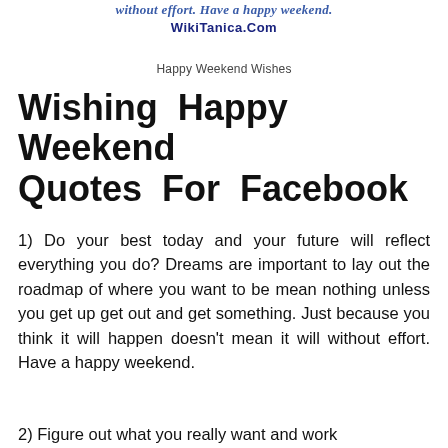without effort. Have a happy weekend.
WikiTanica.Com
Happy Weekend Wishes
Wishing Happy Weekend Quotes For Facebook
1) Do your best today and your future will reflect everything you do? Dreams are important to lay out the roadmap of where you want to be mean nothing unless you get up get out and get something. Just because you think it will happen doesn't mean it will without effort. Have a happy weekend.
2) Figure out what you really want and work